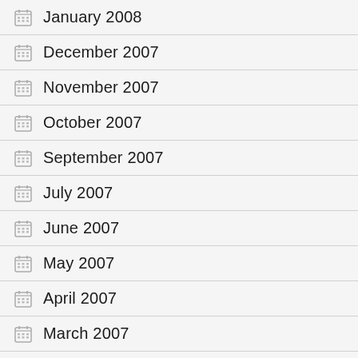January 2008
December 2007
November 2007
October 2007
September 2007
July 2007
June 2007
May 2007
April 2007
March 2007